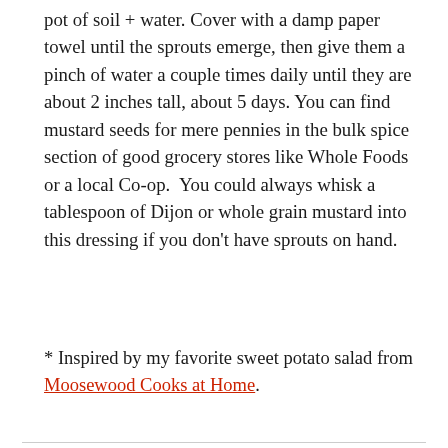pot of soil + water. Cover with a damp paper towel until the sprouts emerge, then give them a pinch of water a couple times daily until they are about 2 inches tall, about 5 days. You can find mustard seeds for mere pennies in the bulk spice section of good grocery stores like Whole Foods or a local Co-op.  You could always whisk a tablespoon of Dijon or whole grain mustard into this dressing if you don't have sprouts on hand.
* Inspired by my favorite sweet potato salad from Moosewood Cooks at Home.
Cashew Okra